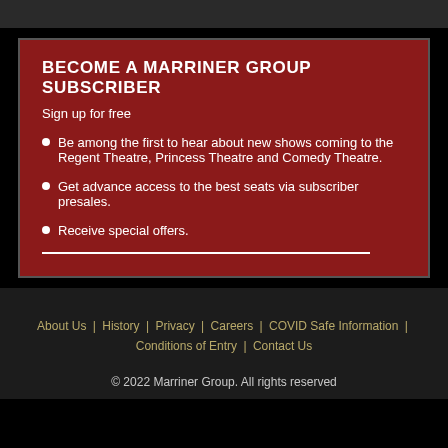BECOME A MARRINER GROUP SUBSCRIBER
Sign up for free
Be among the first to hear about new shows coming to the Regent Theatre, Princess Theatre and Comedy Theatre.
Get advance access to the best seats via subscriber presales.
Receive special offers.
About Us | History | Privacy | Careers | COVID Safe Information | Conditions of Entry | Contact Us
© 2022 Marriner Group. All rights reserved